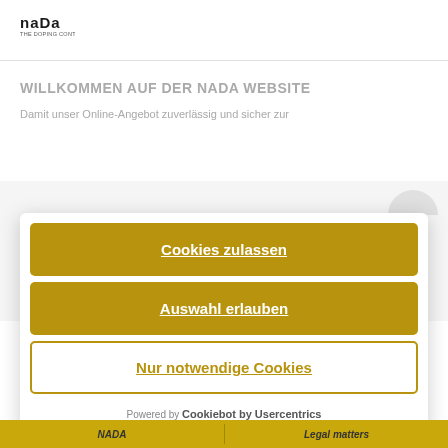[Figure (logo): NADA logo - text 'nada' in stylized font with tagline below]
WILLKOMMEN AUF DER NADA WEBSITE
Damit unser Online-Angebot zuverlässig und sicher zur
Cookies zulassen
Auswahl erlauben
Nur notwendige Cookies
Powered by Cookiebot by Usercentrics
NADA
Legal matters